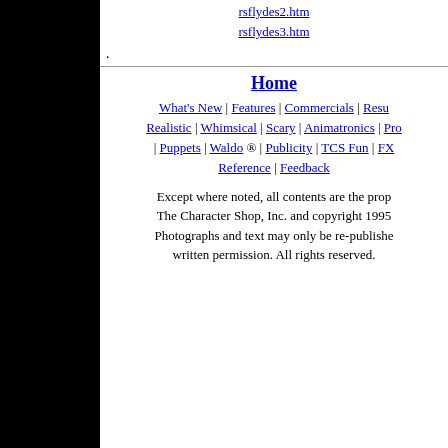rsflydes2.htm
rsflydes3.htm
.
Home | What's New | Features | Commercials | Resu... | Realistic | Whimsical | Scary | Animatronics | Pro... | Puppets | Waldo ® | Publicity | TCS Fun | FX... | Reference | Feedback
Except where noted, all contents are the prop... The Character Shop, Inc. and copyright 1995... Photographs and text may only be re-publishe... written permission. All rights reserved.